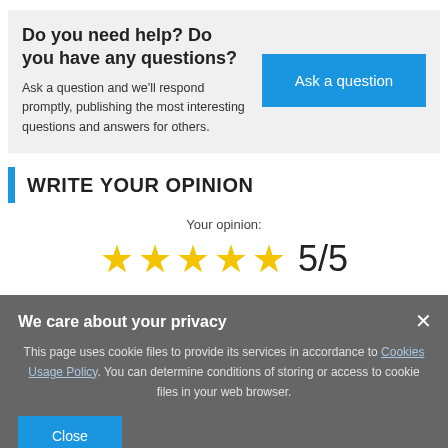Do you need help? Do you have any questions?
Ask a question and we'll respond promptly, publishing the most interesting questions and answers for others.
WRITE YOUR OPINION
Your opinion:
★★★★★ 5/5
We care about your privacy
This page uses cookie files to provide its services in accordance to Cookies Usage Policy. You can determine conditions of storing or access to cookie files in your web browser.